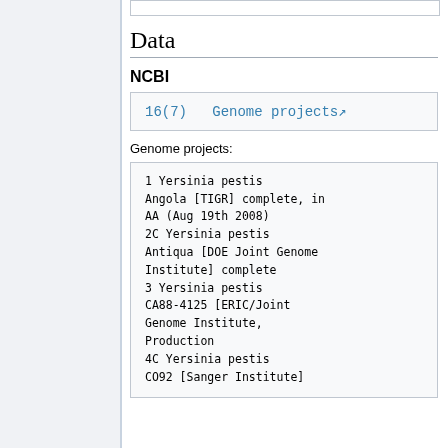Data
NCBI
16(7)  Genome projects
Genome projects:
1  Yersinia pestis Angola [TIGR] complete, in AA (Aug 19th 2008)
2C Yersinia pestis Antiqua [DOE Joint Genome Institute] complete
3  Yersinia pestis CA88-4125 [ERIC/Joint Genome Institute, Production
4C Yersinia pestis CO92 [Sanger Institute]